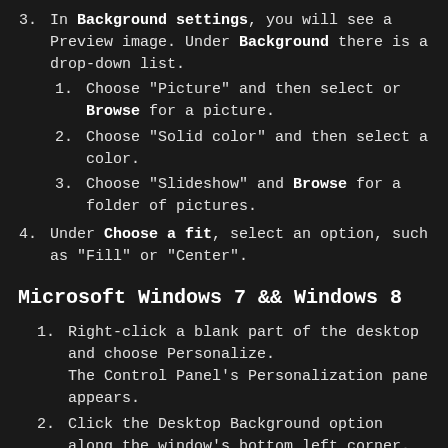3. In Background settings, you will see a Preview image. Under Background there is a drop-down list.
1. Choose "Picture" and then select or Browse for a picture.
2. Choose "Solid color" and then select a color.
3. Choose "Slideshow" and Browse for a folder of pictures.
4. Under Choose a fit, select an option, such as "Fill" or "Center".
Microsoft Windows 7 && Windows 8
1. Right-click a blank part of the desktop and choose Personalize. The Control Panel's Personalization pane appears.
2. Click the Desktop Background option along the window's bottom left corner.
3. Click any of the pictures, and Windows 7 quickly places it onto your desktop's background.